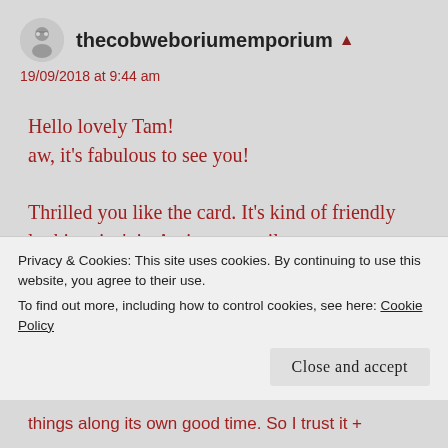[Figure (illustration): Small circular avatar image of a cartoon figure with glasses]
thecobweboriumemporium
19/09/2018 at 9:44 am
Hello lovely Tam!
aw, it's fabulous to see you!
Thrilled you like the card. It's kind of friendly looking, isn't it. An instant smile.
Thank you so much for your good wishes. All
Privacy & Cookies: This site uses cookies. By continuing to use this website, you agree to their use.
To find out more, including how to control cookies, see here: Cookie Policy
Close and accept
things along its own good time. So I trust it +